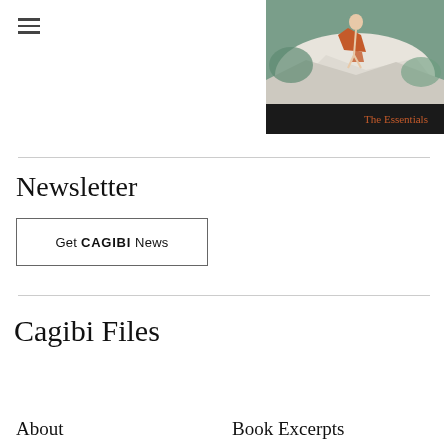[Figure (illustration): Book cover image for 'The Essentials' — painting of a person lying on white rocks near water, with orange/rust accents. Dark banner at bottom with text 'The Essentials' in orange.]
Newsletter
Get CAGIBI News
Cagibi Files
About
Book Excerpts